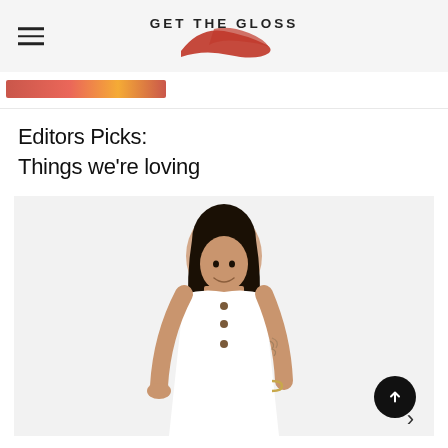GET THE GLOSS
[Figure (other): Partially visible banner or promotional strip with red/gradient colours]
Editors Picks:
Things we're loving
[Figure (photo): Young woman with braided hair smiling, wearing a white sleeveless button-front midi dress with tattoos visible on her arms, photographed against a light background]
[Figure (other): Scroll-to-top circular dark button with upward arrow, and a right chevron navigation arrow below it]